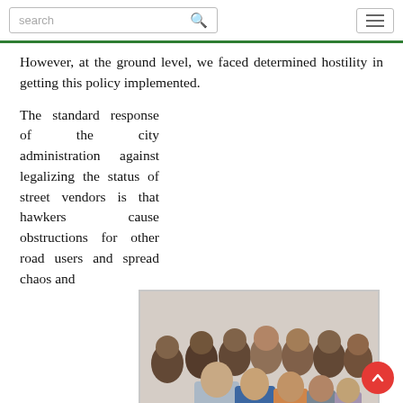search [search icon] [hamburger menu]
However, at the ground level, we faced determined hostility in getting this policy implemented.
The standard response of the city administration against legalizing the status of street vendors is that hawkers cause obstructions for other road users and spread chaos and
[Figure (photo): Group photo showing Former Commissioner MCD Mr Rakesh Mehtaand Dr. Renuka Vishwanathan performing Jhadu Puja, surrounded by a crowd of people.]
Former Commissioner MCD, Mr Rakesh Mehtaand Dr. Renuka Vishwanathan, Former Secretary Govt of India, (extreme right) performing Jhadu Puja on the day Agreement" for the pilot project was signed in 2004